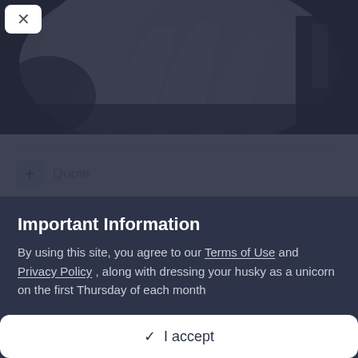[Figure (photo): Close-up photo of a fluffy dog (likely husky) with thick white/grey fur, taken from above/behind. Dark background.]
Quote
Important Information
By using this site, you agree to our Terms of Use and Privacy Policy , along with dressing your husky as a unicorn on the first Thursday of each month
✓ I accept